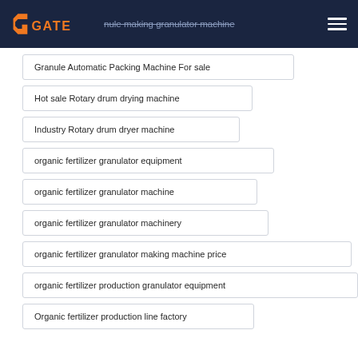GATE | granule making granulator machine
Granule Automatic Packing Machine For sale
Hot sale Rotary drum drying machine
Industry Rotary drum dryer machine
organic fertilizer granulator equipment
organic fertilizer granulator machine
organic fertilizer granulator machinery
organic fertilizer granulator making machine price
organic fertilizer production granulator equipment
Organic fertilizer production line factory